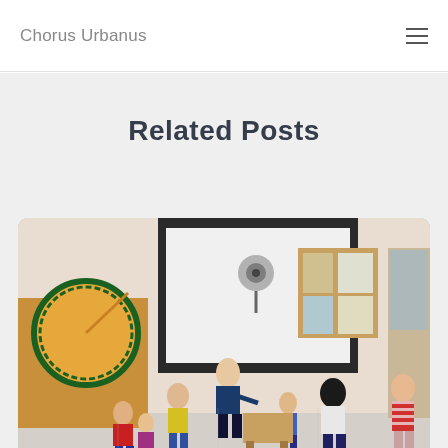Chorus Urbanus
Related Posts
[Figure (photo): A classroom scene with children and an adult instructor standing in a circle. A projection screen is visible at the front of the room along with a circular decorative wall piece and a bulletin board.]